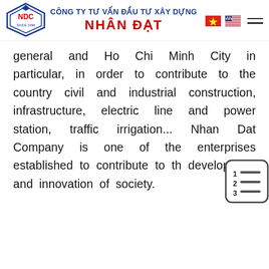CÔNG TY TƯ VẤN ĐẦU TƯ XÂY DỰNG NHÂN ĐẠT
general and Ho Chi Minh City in particular, in order to contribute to the country civil and industrial construction, infrastructure, electric line and power station, traffic irrigation... Nhan Dat Company is one of the enterprises established to contribute to the development and innovation of society.